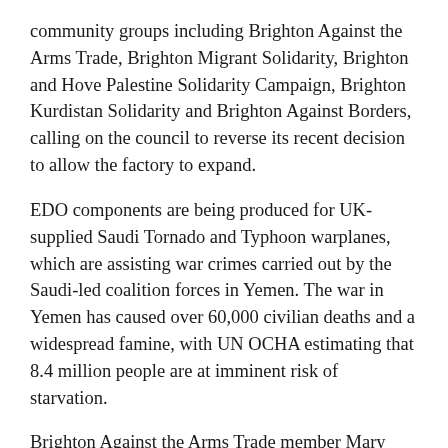community groups including Brighton Against the Arms Trade, Brighton Migrant Solidarity, Brighton and Hove Palestine Solidarity Campaign, Brighton Kurdistan Solidarity and Brighton Against Borders, calling on the council to reverse its recent decision to allow the factory to expand.
EDO components are being produced for UK-supplied Saudi Tornado and Typhoon warplanes, which are assisting war crimes carried out by the Saudi-led coalition forces in Yemen. The war in Yemen has caused over 60,000 civilian deaths and a widespread famine, with UN OCHA estimating that 8.4 million people are at imminent risk of starvation.
Brighton Against the Arms Trade member Mary Higgins said: “Millions of people in Yemen are at immediate risk of death from famine and preventable illness. We can’t stay silent when those who arm the